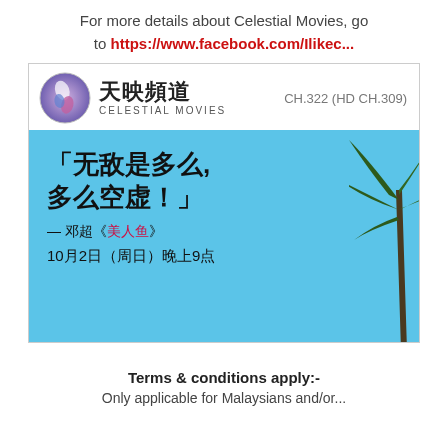For more details about Celestial Movies, go to https://www.facebook.com/Ilikec...
[Figure (infographic): Celestial Movies (天映频道) channel advertisement banner. Shows the channel logo (globe/yin-yang sphere) and Chinese characters 天映頻道 with 'CELESTIAL MOVIES' below, CH.322 (HD CH.309) channel number. Below is a light blue promotional banner with large Chinese text quote 「无敌是多么,多么空虚!」attributed to 邓超《美人鱼》, date 10月2日（周日）晚上9点, and a palm tree decoration on right.]
Terms & conditions apply:-
Only applicable for Malaysians and/or...